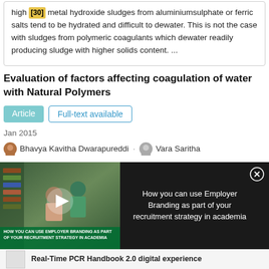high [30] metal hydroxide sludges from aluminiumsulphate or ferric salts tend to be hydrated and difficult to dewater. This is not the case with sludges from polymeric coagulants which dewater readily producing sludge with higher solids content. ...
Evaluation of factors affecting coagulation of water with Natural Polymers
Article   Full-text available
Jan 2015
Bhavya Kavitha Dwarapureddi · Vara Saritha
[Figure (screenshot): Video overlay with a thumbnail showing students in a library and text 'HOW YOU CAN USE EMPLOYER BRANDING AS PART OF YOUR RECRUITMENT STRATEGY IN ACADEMIA', with a play button. Right panel shows text 'How you can use Employer Branding as part of your recruitment strategy in academia' and a close button.]
[Figure (screenshot): Advertisement bar at the bottom with a thumbnail of a document and text 'Real-Time PCR Handbook 2.0 digital experience']